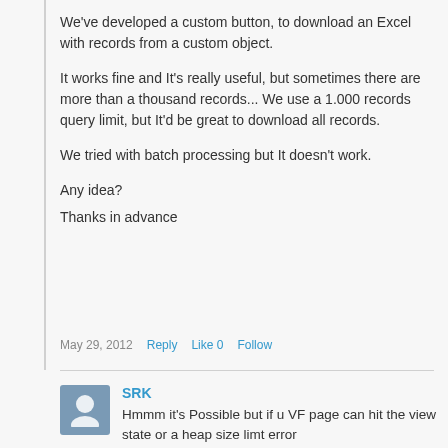We've developed a custom button, to download an Excel with records from a custom object.
It works fine and It's really useful, but sometimes there are more than a thousand records... We use a 1.000 records query limit, but It'd be great to download all records.
We tried with batch processing but It doesn't work.
Any idea?
Thanks in advance
May 29, 2012   Reply   Like 0   Follow
SRK
Hmmm it's Possible but if u VF page can hit the view state or a heap size limt error